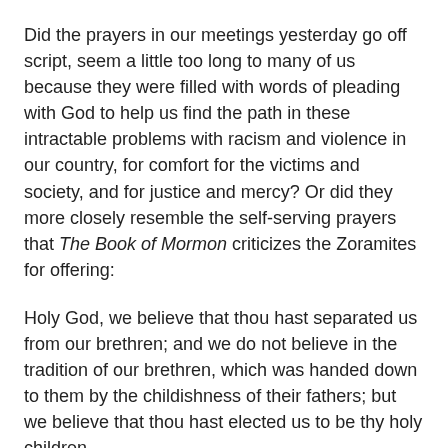Did the prayers in our meetings yesterday go off script, seem a little too long to many of us because they were filled with words of pleading with God to help us find the path in these intractable problems with racism and violence in our country, for comfort for the victims and society, and for justice and mercy? Or did they more closely resemble the self-serving prayers that The Book of Mormon criticizes the Zoramites for offering:
Holy God, we believe that thou hast separated us from our brethren; and we do not believe in the tradition of our brethren, which was handed down to them by the childishness of their fathers; but we believe that thou hast elected us to be thy holy children . . . .